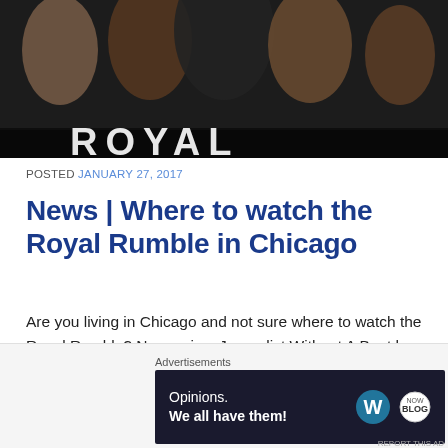[Figure (photo): Top portion of a Royal Rumble promotional image showing muscular wrestlers in dark background with partial text 'ROYAL' visible at the bottom]
POSTED JANUARY 27, 2017
News | Where to watch the Royal Rumble in Chicago
Are you living in Chicago and not sure where to watch the Royal Rumble? No worries, Journalist Without A Beat has you covered.
[Figure (photo): Partial Royal Rumble promotional image with colorful text, cropped at bottom of visible area]
Advertisements
[Figure (screenshot): WordPress advertisement: Opinions. We all have them! with WordPress and another logo]